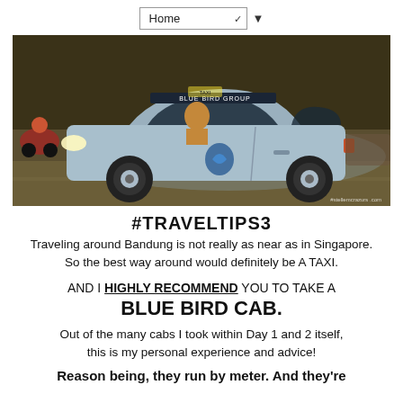Home ▼
[Figure (photo): A blue Bird taxi cab car driving, seen from the side. The car is a silver-blue sedan with Blue Bird Group branding visible on the windshield strip. A watermark reads #stellemcrazurs .com at the bottom right.]
#TRAVELTIPS3
Traveling around Bandung is not really as near as in Singapore.
So the best way around would definitely be A TAXI.
AND I HIGHLY RECOMMEND YOU TO TAKE A
BLUE BIRD CAB.
Out of the many cabs I took within Day 1 and 2 itself, this is my personal experience and advice!
Reason being, they run by meter. And they're